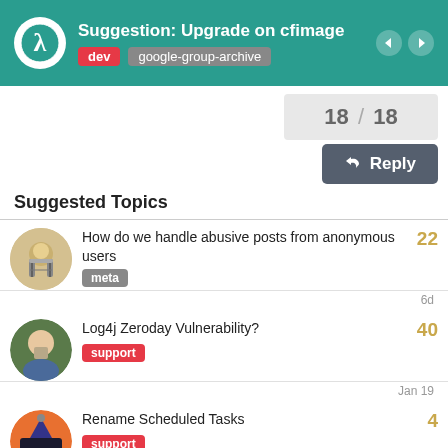Suggestion: Upgrade on cfimage
dev   google-group-archive
18 / 18
Reply
Suggested Topics
How do we handle abusive posts from anonymous users
meta
22
6d
Log4j Zeroday Vulnerability?
support
40
Jan 19
Rename Scheduled Tasks
support
4
Jun 25
Trouble with ESAPI after 5.3.9.141
3